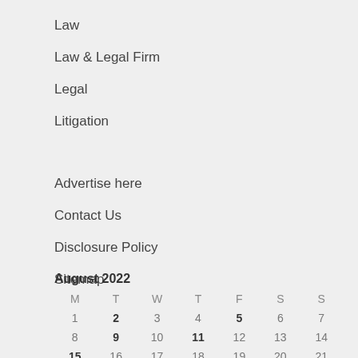Law
Law & Legal Firm
Legal
Litigation
Advertise here
Contact Us
Disclosure Policy
Sitemap
August 2022
| M | T | W | T | F | S | S |
| --- | --- | --- | --- | --- | --- | --- |
| 1 | 2 | 3 | 4 | 5 | 6 | 7 |
| 8 | 9 | 10 | 11 | 12 | 13 | 14 |
| 15 | 16 | 17 | 18 | 19 | 20 | 21 |